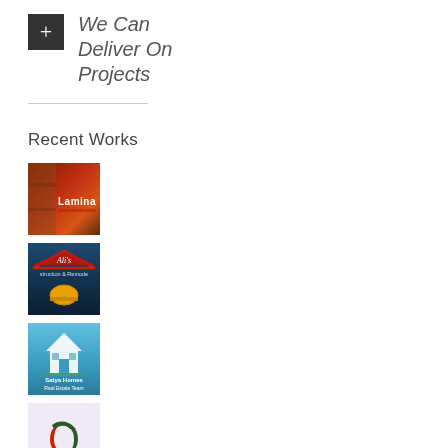We Can Deliver On Projects
Recent Works
[Figure (logo): Laminate product logo with orange/red gradient background and white 'Lamina' text]
[Figure (logo): Ali's Construction & Remodeling logo with dark blue background, red roof line, and yellow hard hat]
[Figure (logo): Satya Homes Real Estate Team logo with blue background, white house icon, and text]
[Figure (logo): BasCoTech Group logo with light purple background and stylized arrow/swoosh icon in dark green and red]